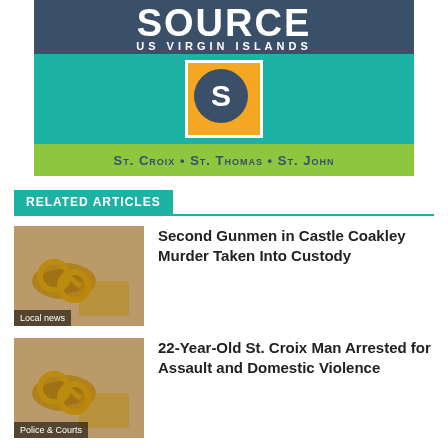[Figure (logo): Source US Virgin Islands logo banner with St. Croix, St. Thomas, St. John text]
RELATED ARTICLES
[Figure (photo): Handcuffs photo with Local news label]
Second Gunmen in Castle Coakley Murder Taken Into Custody
[Figure (photo): Handcuffs photo with Police & Courts label]
22-Year-Old St. Croix Man Arrested for Assault and Domestic Violence
[Figure (photo): Election 2022 voting stickers photo]
2022 Voting Season in Final Phase as Candidates Cast Lots